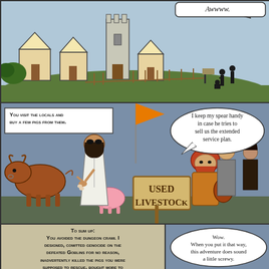[Figure (illustration): Comic panel 1: A medieval village scene with small houses, a stone tower, green grass, a fence, and silhouetted figures in the distance. A speech bubble in the top right says 'Awww.']
[Figure (illustration): Comic panel 2: A used livestock salesman with a pig and a bull, holding a bone, next to a 'USED LIVESTOCK' sign. Three adventurers (a viking, a knight, and a rogue) look on. Narration box says 'You visit the locals and buy a few pigs from them.' Speech bubble says 'I keep my spear handy in case he tries to sell us the extended service plan.']
[Figure (illustration): Comic panel 3 (bottom left): Narration text 'To sum up: You avoided the dungeon crawl I designed, comitted genocide on the defeated Goblins for no reason, inadvertently killed the pigs you were supposed to rescue, bought more to replace them, and now you're going to...']
[Figure (illustration): Comic panel 4 (bottom right): Speech bubble says 'Wow. When you put it that way, this adventure does sound a little screwy.']